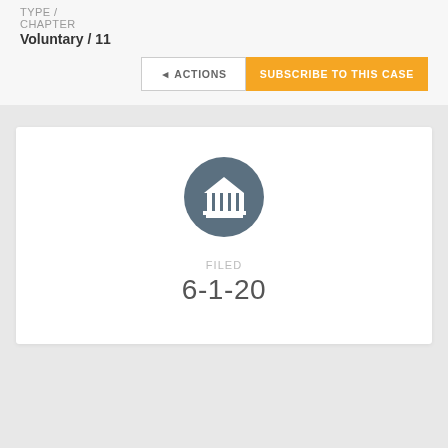TYPE / CHAPTER
Voluntary / 11
ACTIONS
SUBSCRIBE TO THIS CASE
[Figure (illustration): Court/government building icon (white columns and pediment) inside a dark teal/slate circular badge]
FILED
6-1-20